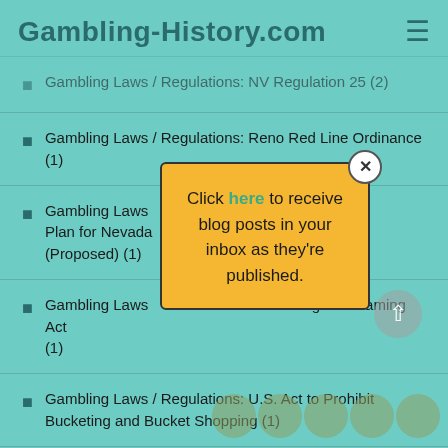Gambling-History.com
Gambling Laws / Regulations: NV Regulation 25 (2)
Gambling Laws / Regulations: Reno Red Line Ordinance (1)
Gambling Laws / Regulations: [Statewide Gaming Control] Plan for Nevada (Proposed) (1)
Gambling Laws / Regulations: [UK] Betting and Gaming Act (1)
Gambling Laws / Regulations: U.S. Act to Prohibit Bucketing and Bucket Shopping (1)
Gambling Laws / Regulations: U.S. Revenue Act of 1951 (2)
Gambling Laws / Regulations: U.S. Transportation of
[Figure (screenshot): Yellow popup box with close button (X), text: 'Click here to receive blog posts in your inbox as they're published.' The word 'here' is in teal/green color.]